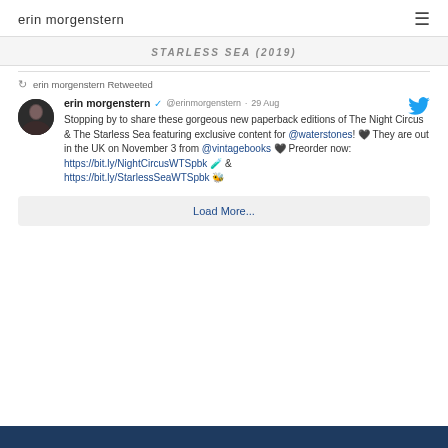erin morgenstern
STARLESS SEA (2019)
erin morgenstern Retweeted
erin morgenstern @erinmorgenstern · 29 Aug
Stopping by to share these gorgeous new paperback editions of The Night Circus & The Starless Sea featuring exclusive content for @waterstones! 🖤 They are out in the UK on November 3 from @vintagebooks 🖤 Preorder now: https://bit.ly/NightCircusWTSpbk 🧪 & https://bit.ly/StarlessSeaWTSpbk 🐝
Load More...